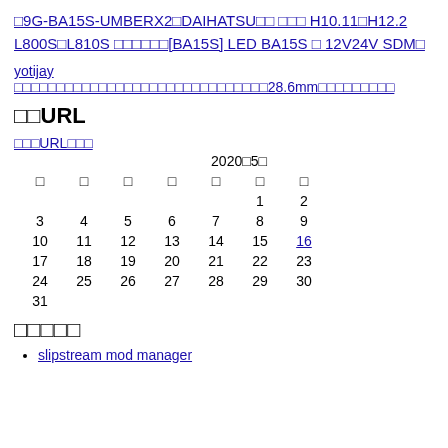□9G-BA15S-UMBERX2□DAIHATSU□□ □□□ H10.11□H12.2 L800S□L810S □□□□□□[BA15S] LED BA15S □ 12V24V SDM□
yotijay □□□□□□□□□□□□□□□□□□□□□□□□□□□□□□28.6mm□□□□□□□□□
□□URL
□□□URL□□□
| □ | □ | □ | □ | □ | □ | □ |
| --- | --- | --- | --- | --- | --- | --- |
|  |  |  |  |  | 1 | 2 |
| 3 | 4 | 5 | 6 | 7 | 8 | 9 |
| 10 | 11 | 12 | 13 | 14 | 15 | 16 |
| 17 | 18 | 19 | 20 | 21 | 22 | 23 |
| 24 | 25 | 26 | 27 | 28 | 29 | 30 |
| 31 |  |  |  |  |  |  |
□□□□□
slipstream mod manager